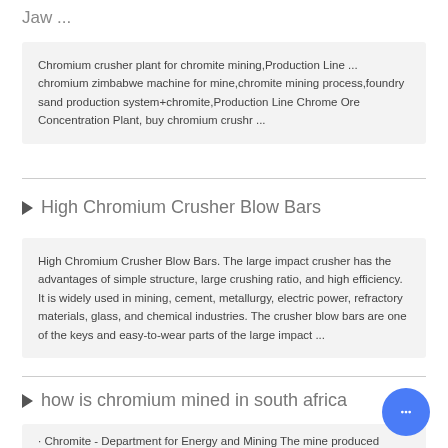Jaw ...
Chromium crusher plant for chromite mining,Production Line ... chromium zimbabwe machine for mine,chromite mining process,foundry sand production system+chromite,Production Line Chrome Ore Concentration Plant, buy chromium crushr ...
High Chromium Crusher Blow Bars
High Chromium Crusher Blow Bars. The large impact crusher has the advantages of simple structure, large crushing ratio, and high efficiency. It is widely used in mining, cement, metallurgy, electric power, refractory materials, glass, and chemical industries. The crusher blow bars are one of the keys and easy-to-wear parts of the large impact ...
how is chromium mined in south africa
· Chromite - Department for Energy and Mining The mine produced